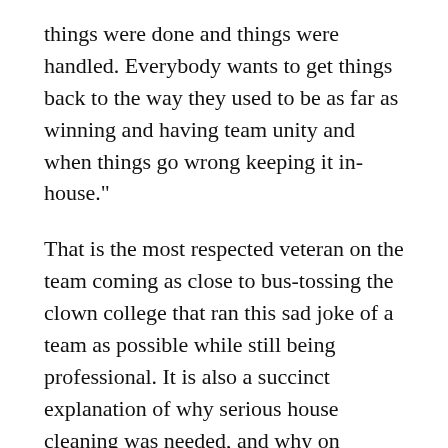things were done and things were handled. Everybody wants to get things back to the way they used to be as far as winning and having team unity and when things go wrong keeping it in-house."
That is the most respected veteran on the team coming as close to bus-tossing the clown college that ran this sad joke of a team as possible while still being professional. It is also a succinct explanation of why serious house cleaning was needed, and why on Monday George McCaskey began that process with a blowtorch.
There is still much work to do. While there is cause for celebration near the guillotine, the reality needs